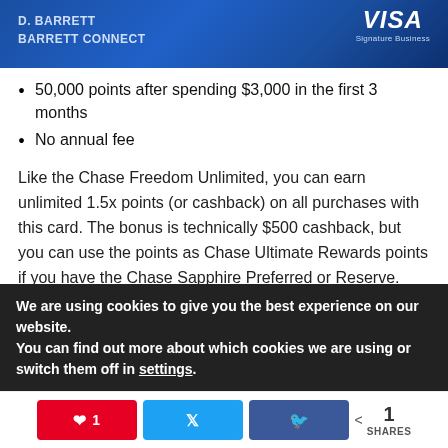[Figure (photo): Credit card banner showing D. BARRETT / BARRETT CONNECT on a blue gradient background with VISA Signature Business logo on the right]
50,000 points after spending $3,000 in the first 3 months
No annual fee
Like the Chase Freedom Unlimited, you can earn unlimited 1.5x points (or cashback) on all purchases with this card. The bonus is technically $500 cashback, but you can use the points as Chase Ultimate Rewards points if you have the Chase Sapphire Preferred or Reserve.
We are using cookies to give you the best experience on our website.
You can find out more about which cookies we are using or switch them off in settings.
1 SHARES (share buttons: Pinterest, Twitter, Facebook)